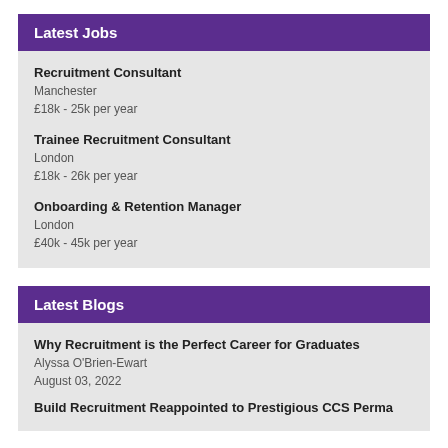Latest Jobs
Recruitment Consultant
Manchester
£18k - 25k per year
Trainee Recruitment Consultant
London
£18k - 26k per year
Onboarding & Retention Manager
London
£40k - 45k per year
Latest Blogs
Why Recruitment is the Perfect Career for Graduates
Alyssa O'Brien-Ewart
August 03, 2022
Build Recruitment Reappointed to Prestigious CCS Perma…